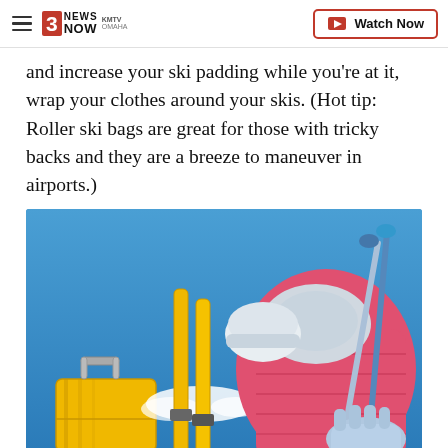3 News Now KMTV Omaha | Watch Now
and increase your ski padding while you’re at it, wrap your clothes around your skis. (Hot tip: Roller ski bags are great for those with tricky backs and they are a breeze to maneuver in airports.)
[Figure (photo): Ski gear laid out on a blue background: yellow skis, yellow suitcase with handle, pink puffer ski jacket, white beanie/hat, blue-handled ski poles, and light blue gloves with artificial snow scattered around.]